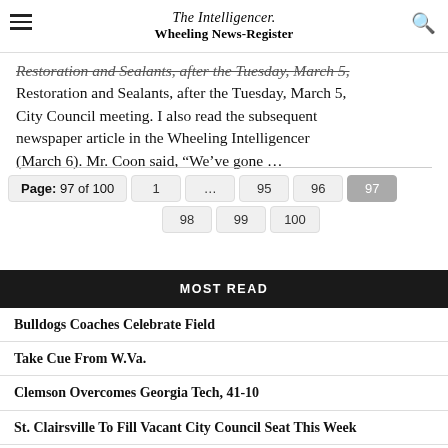The Intelligencer. Wheeling News-Register
Restoration and Sealants, after the Tuesday, March 5, City Council meeting. I also read the subsequent newspaper article in the Wheeling Intelligencer (March 6). Mr. Coon said, “We’ve gone …
Page: 97 of 100  1  ...  95  96  97  98  99  100
MOST READ
Bulldogs Coaches Celebrate Field
Take Cue From W.Va.
Clemson Overcomes Georgia Tech, 41-10
St. Clairsville To Fill Vacant City Council Seat This Week